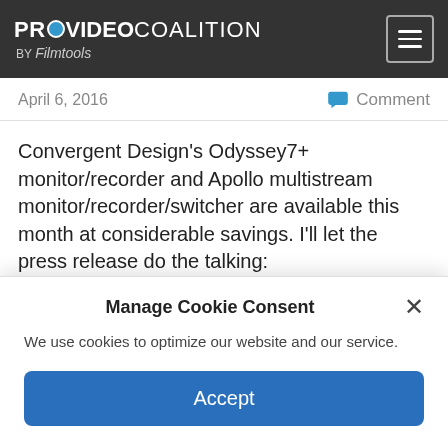PROVIDEO COALITION BY Filmtools
April 6, 2016    Comment
Convergent Design's Odyssey7+ monitor/recorder and Apollo multistream monitor/recorder/switcher are available this month at considerable savings. I'll let the press release do the talking:
[Figure (screenshot): Partially visible image strip at the bottom of the article area, showing partial text and a grey bar]
Manage Cookie Consent
We use cookies to optimize our website and our service.
Accept